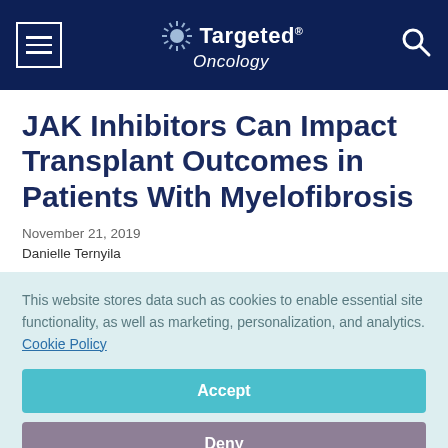Targeted Oncology
JAK Inhibitors Can Impact Transplant Outcomes in Patients With Myelofibrosis
November 21, 2019
Danielle Ternyila
This website stores data such as cookies to enable essential site functionality, as well as marketing, personalization, and analytics. Cookie Policy
Accept
Deny